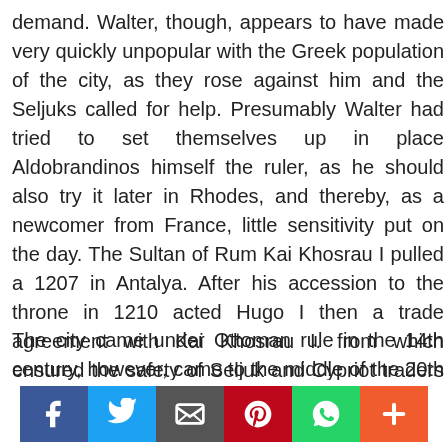demand. Walter, though, appears to have made very quickly unpopular with the Greek population of the city, as they rose against him and the Seljuks called for help. Presumably Walter had tried to set themselves up in place Aldobrandinos himself the ruler, as he should also try it later in Rhodes, and thereby, as a newcomer from France, little sensitivity put on the day. The Sultan of Rum Kai Khosrau I pulled a 1207 in Antalya. After his accession to the throne in 1210 acted Hugo I then a trade agreement with Kai Khosrau I. from which ensured the safety of Seljuk and Cypriot traders on the southern coast of Anatolia.
The city came under Ottoman rule in the 14th century, however, came to the middle of the 20th century
[Figure (infographic): Social media sharing buttons: Facebook, Twitter, Email, Pinterest, WhatsApp, More]